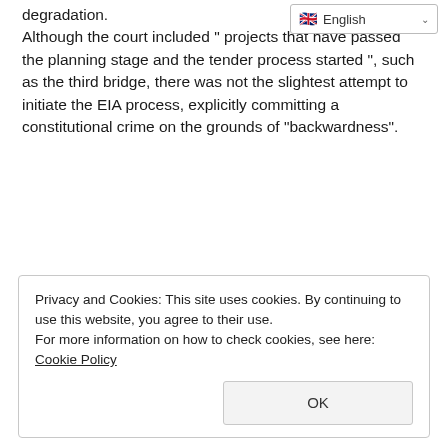degradation.
Although the court included " projects that have passed the planning stage and the tender process started ", such as the third bridge, there was not the slightest attempt to initiate the EIA process, explicitly committing a constitutional crime on the grounds of "backwardness".
Privacy and Cookies: This site uses cookies. By continuing to use this website, you agree to their use.
For more information on how to check cookies, see here: Cookie Policy